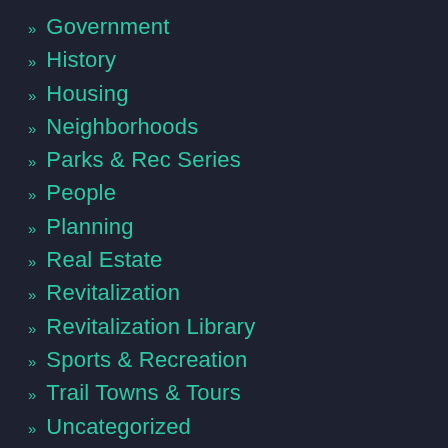Government
History
Housing
Neighborhoods
Parks & Rec Series
People
Planning
Real Estate
Revitalization
Revitalization Library
Sports & Recreation
Trail Towns & Tours
Uncategorized
Wellness